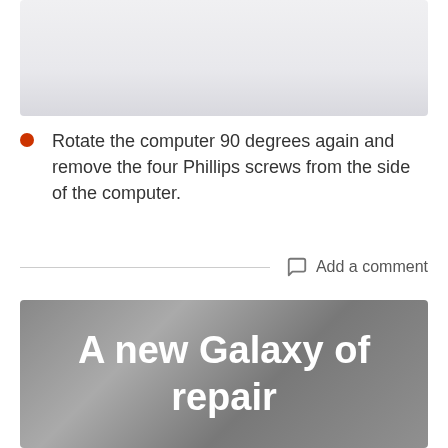[Figure (photo): Light gray/white image area at top of page, appears to be a cropped photo with white and light gray tones]
Rotate the computer 90 degrees again and remove the four Phillips screws from the side of the computer.
Add a comment
[Figure (photo): Gray textured stone/concrete background image with large white bold text reading 'A new Galaxy of repair']